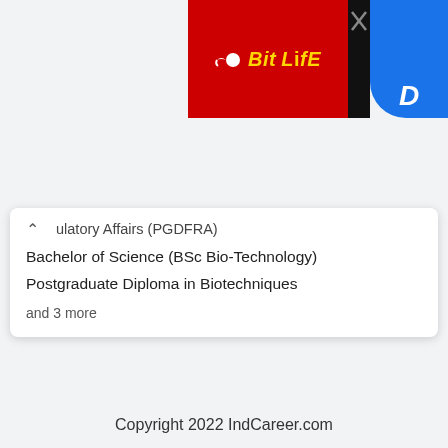[Figure (screenshot): BitLife advertisement banner in red with yellow logo text and blue section with D letter]
ulatory Affairs (PGDFRA)
Bachelor of Science (BSc Bio-Technology)
Postgraduate Diploma in Biotechniques
and 3 more
1  2  next ›  last »
This page was last modified on 4 September 2022 at 00:09.
Copyright 2022 IndCareer.com